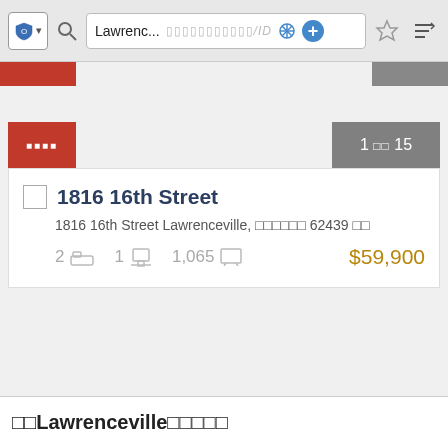[Figure (screenshot): Browser toolbar with shield button, search icon, address bar showing 'Lawrenc...' and placeholder ID text, crosshair and plus icons, star and sort icons]
[Figure (screenshot): Real estate listing search result card showing property at 1816 16th Street, Lawrenceville, with 2 bed, 1 bath, 1,065 sq ft, priced at $59,900. Red label bar top left, gray page indicator '1 of 15' top right.]
1816 16th Street
1816 16th Street Lawrenceville, 62439
2  1  1,065  $59,900
Lawrenceville